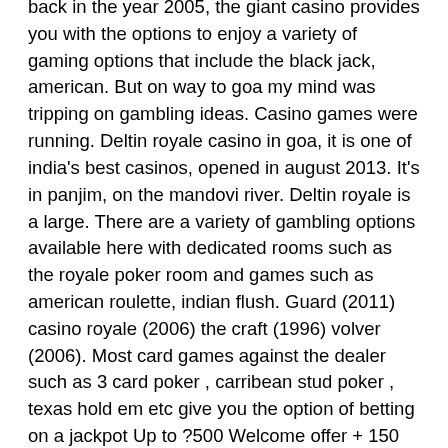back in the year 2005, the giant casino provides you with the options to enjoy a variety of gaming options that include the black jack, american. But on way to goa my mind was tripping on gambling ideas. Casino games were running. Deltin royale casino in goa, it is one of india's best casinos, opened in august 2013. It's in panjim, on the mandovi river. Deltin royale is a large. There are a variety of gambling options available here with dedicated rooms such as the royale poker room and games such as american roulette, indian flush. Guard (2011) casino royale (2006) the craft (1996) volver (2006). Most card games against the dealer such as 3 card poker , carribean stud poker , texas hold em etc give you the option of betting on a jackpot Up to ?500 Welcome offer + 150 spins. First 3 deposit only. Max total bonus ?500 & 150 spins. Comprehensive offering Live